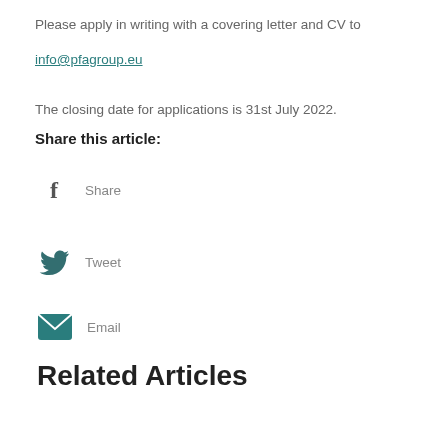Please apply in writing with a covering letter and CV to
info@pfagroup.eu
The closing date for applications is 31st July 2022.
Share this article:
Share
Tweet
Email
Related Articles